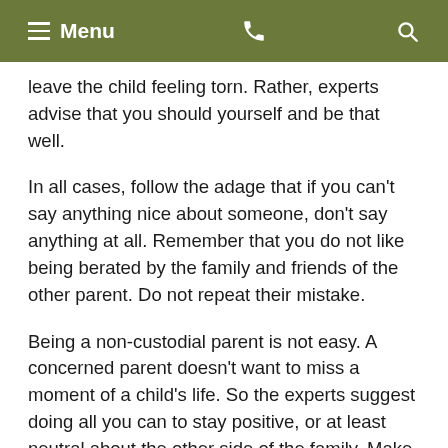Menu
leave the child feeling torn. Rather, experts advise that you should yourself and be that well.
In all cases, follow the adage that if you can't say anything nice about someone, don't say anything at all. Remember that you do not like being berated by the family and friends of the other parent. Do not repeat their mistake.
Being a non-custodial parent is not easy. A concerned parent doesn't want to miss a moment of a child's life. So the experts suggest doing all you can to stay positive, or at least neutral about the other side of the family. Make visits with your child fun. Such practice will go a long way toward